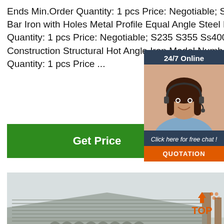Ends Min.Order Quantity: 1 pcs Price: Negotiable; Steel Beams Angle Bar Iron with Holes Metal Profile Equal Angle Steel Min.Order Quantity: 1 pcs Price: Negotiable; S235 S355 Ss400 A36 Q235 Q345 Construction Structural Hot Angle Iron Model Number: S235 Min.Order Quantity: 1 pcs Price ...
[Figure (other): Get Price green button]
[Figure (photo): 24/7 Online customer service representative sidebar widget with quotation button]
[Figure (photo): Steel rods/bars stacked in a warehouse yard outdoor scene]
[Figure (other): TOP scroll-to-top badge in orange]